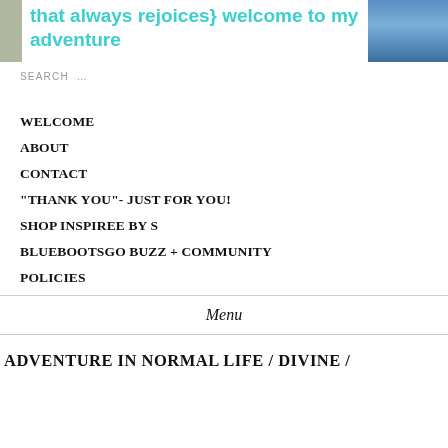that always rejoices} welcome to my adventure
SEARCH …
WELCOME
ABOUT
CONTACT
“THANK YOU”- JUST FOR YOU!
SHOP INSPIREE BY S
BLUEBOOTSGO BUZZ + COMMUNITY
POLICIES
Menu
ADVENTURE IN NORMAL LIFE / DIVINE /